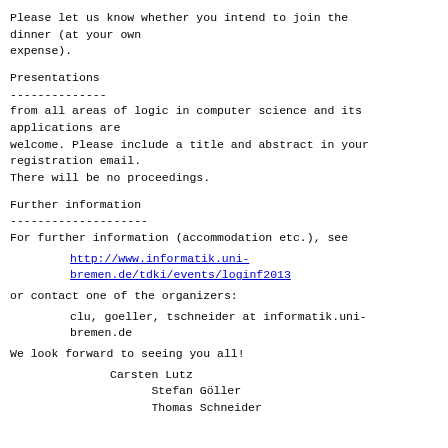Please let us know whether you intend to join the dinner (at your own expense).
Presentations
--------------
from all areas of logic in computer science and its applications are welcome. Please include a title and abstract in your registration email.
There will be no proceedings.
Further information
--------------------
For further information (accommodation etc.), see
http://www.informatik.uni-bremen.de/tdki/events/loginf2013
or contact one of the organizers:
clu, goeller, tschneider at informatik.uni-bremen.de
We look forward to seeing you all!
Carsten Lutz
Stefan Göller
Thomas Schneider